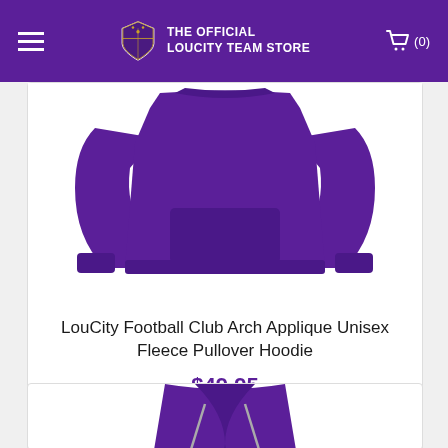THE OFFICIAL LOUCITY TEAM STORE
[Figure (photo): Purple LouCity pullover hoodie laid flat, showing front kangaroo pocket and sleeves]
LouCity Football Club Arch Applique Unisex Fleece Pullover Hoodie
$49.95
CHOOSE OPTIONS
[Figure (photo): Purple zip-up hoodie showing collar and drawstrings, partially visible at bottom of page]